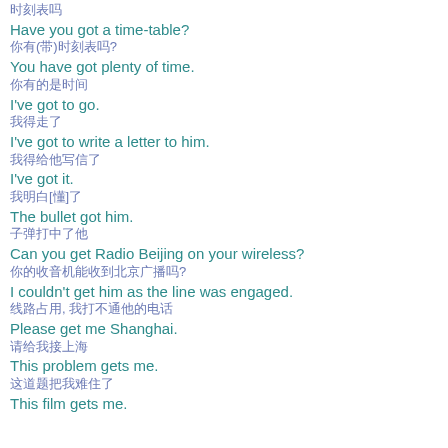时刻表吗
Have you got a time-table?
你有(带)时刻表吗?
You have got plenty of time.
你有的是时间
I've got to go.
我得走了
I've got to write a letter to him.
我得给他写信了
I've got it.
我明白[懂]了
The bullet got him.
子弹打中了他
Can you get Radio Beijing on your wireless?
你的收音机能收到北京广播吗?
I couldn't get him as the line was engaged.
线路占用, 我打不通他的电话
Please get me Shanghai.
请给我接上海
This problem gets me.
这道题把我难住了
This film gets me.